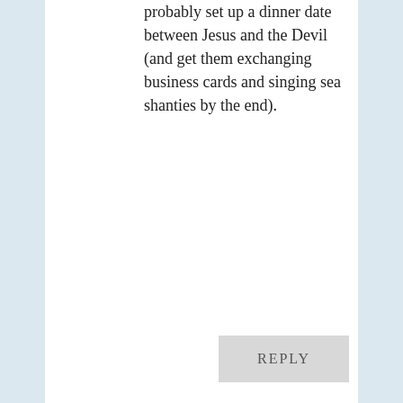probably set up a dinner date between Jesus and the Devil (and get them exchanging business cards and singing sea shanties by the end).
REPLY
Alex Sewell on October 30, 2009 at 3:06 pm
Why would it be an outrage Derek? Would you prefer a foreign national than a Brit? I find that just weird actually. Cutting off your ear to spite